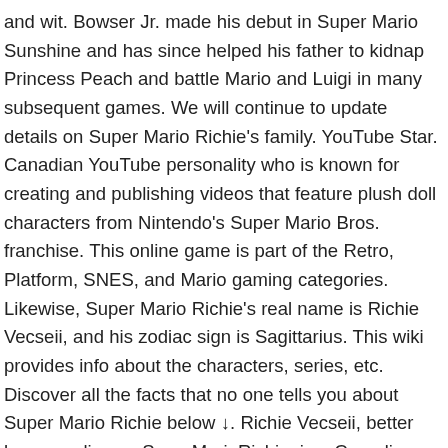and wit. Bowser Jr. made his debut in Super Mario Sunshine and has since helped his father to kidnap Princess Peach and battle Mario and Luigi in many subsequent games. We will continue to update details on Super Mario Richie's family. YouTube Star. Canadian YouTube personality who is known for creating and publishing videos that feature plush doll characters from Nintendo's Super Mario Bros. franchise. This online game is part of the Retro, Platform, SNES, and Mario gaming categories. Likewise, Super Mario Richie's real name is Richie Vecseii, and his zodiac sign is Sagittarius. This wiki provides info about the characters, series, etc. Discover all the facts that no one tells you about Super Mario Richie below ↓. Richie Vecseii, better known online as SuperMarioRichie, is a Canadian YouTuber who makes plush videos. Canadian